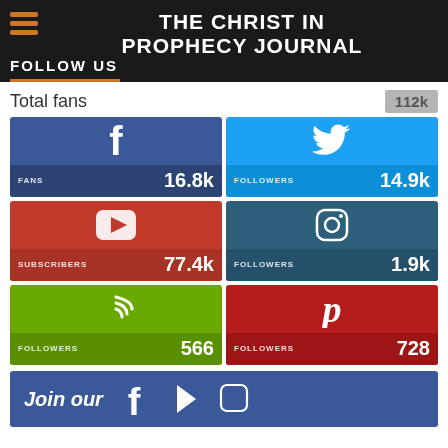THE CHRIST IN PROPHECY JOURNAL / FOLLOW US
Total fans  112k
[Figure (infographic): Social media follower counts grid: Facebook FANS 16.8k, Twitter FOLLOWERS 14.9k, YouTube SUBSCRIBERS 77.4k, Instagram FOLLOWERS 1.9k, Spotify/Podcast FOLLOWERS 566, Pinterest FOLLOWERS 728]
Join our